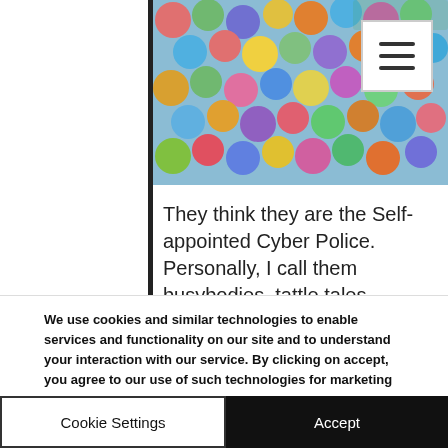[Figure (photo): Colorful plastic ball pit balls in various colors (blue, pink, green, yellow, orange, purple) filling the frame, with a hamburger menu button in the top right corner.]
They think they are the Self-appointed Cyber Police.  Personally, I call them busybodies, tattle tales, narcs, cry babies, and self-righteous old bitties with too much time on their hands.  They really should mind
We use cookies and similar technologies to enable services and functionality on our site and to understand your interaction with our service. By clicking on accept, you agree to our use of such technologies for marketing and analytics. We do not sell or give away this information to outside sources. See Privacy Policy
Cookie Settings
Accept